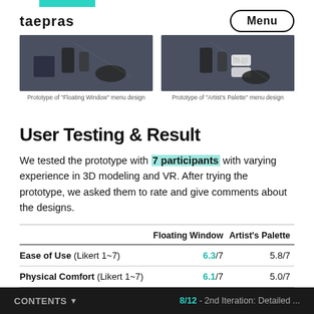taepras | Menu
[Figure (photo): Prototype of 'Floating Window' menu design - dark 3D VR environment with sculpting tools]
Prototype of "Floating Window" menu design
[Figure (photo): Prototype of 'Artist's Palette' menu design - dark 3D VR environment with floating palette UI]
Prototype of "Artist's Palette" menu design
User Testing & Result
We tested the prototype with 7 participants with varying experience in 3D modeling and VR. After trying the prototype, we asked them to rate and give comments about the designs.
|  | Floating Window | Artist's Palette |
| --- | --- | --- |
| Ease of Use (Likert 1~7) | 6.3/7 | 5.8/7 |
| Physical Comfort (Likert 1~7) | 6.1/7 | 5.0/7 |
| Preference
(# participants) | 3 out of 7 | 4 out of 7 |
CONTENTS ▼   8/12 - 2nd Iteration: Detailed ...